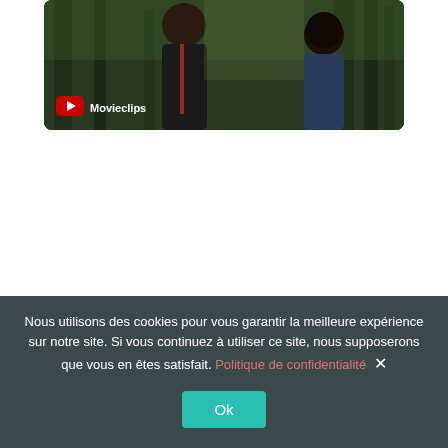[Figure (screenshot): YouTube Movieclips video thumbnail showing two people in a forest scene, with YouTube logo and 'Movieclips' label in the bottom-left corner.]
Nous utilisons des cookies pour vous garantir la meilleure expérience sur notre site. Si vous continuez à utiliser ce site, nous supposerons que vous en êtes satisfait. Politique de confidentialité ×
Ok